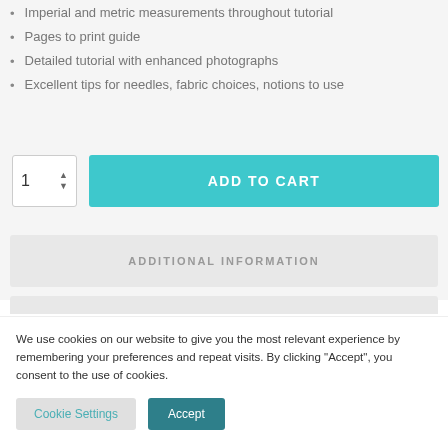Imperial and metric measurements throughout tutorial
Pages to print guide
Detailed tutorial with enhanced photographs
Excellent tips for needles, fabric choices, notions to use
1  ADD TO CART
ADDITIONAL INFORMATION
We use cookies on our website to give you the most relevant experience by remembering your preferences and repeat visits. By clicking “Accept”, you consent to the use of cookies.
Cookie Settings  Accept